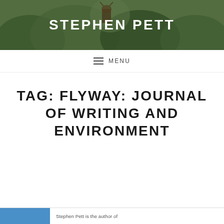[Figure (photo): Header photo showing a moose among green foliage/trees with white text overlay reading STEPHEN PETT]
STEPHEN PETT
≡ MENU
TAG: FLYWAY: JOURNAL OF WRITING AND ENVIRONMENT
Stephen Pett is the author of